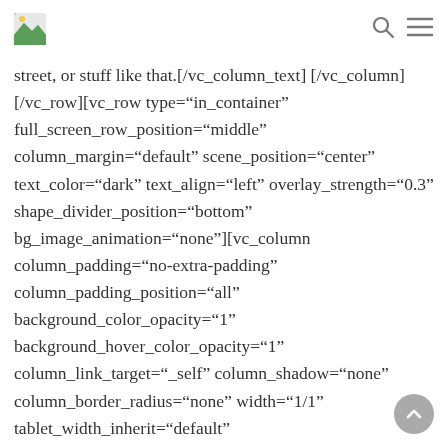[logo] [search icon] [menu icon]
street, or stuff like that.[/vc_column_text] [/vc_column][/vc_row][vc_row type="in_container" full_screen_row_position="middle" column_margin="default" scene_position="center" text_color="dark" text_align="left" overlay_strength="0.3" shape_divider_position="bottom" bg_image_animation="none"][vc_column column_padding="no-extra-padding" column_padding_position="all" background_color_opacity="1" background_hover_color_opacity="1" column_link_target="_self" column_shadow="none" column_border_radius="none" width="1/1" tablet_width_inherit="default"